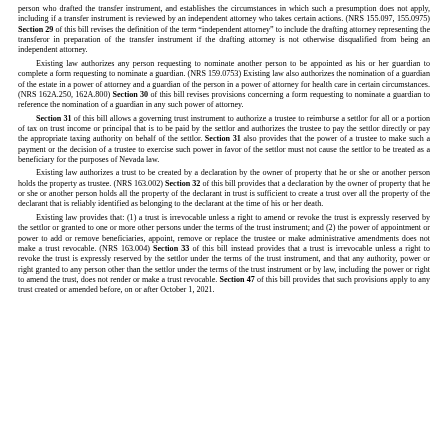person who drafted the transfer instrument, and establishes the circumstances in which such a presumption does not apply, including if a transfer instrument is reviewed by an independent attorney who takes certain actions. (NRS 155.097, 155.0975) Section 29 of this bill revises the definition of the term "independent attorney" to include the drafting attorney representing the transferor in preparation of the transfer instrument if the drafting attorney is not otherwise disqualified from being an independent attorney. Existing law authorizes any person requesting to nominate another person to be appointed as his or her guardian to complete a form requesting to nominate a guardian. (NRS 159.0753) Existing law also authorizes the nomination of a guardian of the estate in a power of attorney and a guardian of the person in a power of attorney for health care in certain circumstances. (NRS 162A.250, 162A.800) Section 30 of this bill revises provisions concerning a form requesting to nominate a guardian to reference the nomination of a guardian in any such power of attorney. Section 31 of this bill allows a governing trust instrument to authorize a trustee to reimburse a settlor for all or a portion of tax on trust income or principal that is to be paid by the settlor and authorizes the trustee to pay the settlor directly or pay the appropriate taxing authority on behalf of the settlor. Section 31 also provides that the power of a trustee to make such a payment or the decision of a trustee to exercise such power in favor of the settlor must not cause the settlor to be treated as a beneficiary for the purposes of Nevada law. Existing law authorizes a trust to be created by a declaration by the owner of property that he or she or another person holds the property as trustee. (NRS 163.002) Section 32 of this bill provides that a declaration by the owner of property that he or she or another person holds all the property of the declarant in trust is sufficient to create a trust over all the property of the declarant that is reliably identified as belonging to the declarant at the time of his or her death. Existing law provides that: (1) a trust is irrevocable unless a right to amend or revoke the trust is expressly reserved by the settlor or granted to one or more other persons under the terms of the trust instrument; and (2) the power of appointment or power to add or remove beneficiaries, appoint, remove or replace the trustee or make administrative amendments does not make a trust revocable. (NRS 163.004) Section 33 of this bill instead provides that a trust is irrevocable unless a right to revoke the trust is expressly reserved by the settlor under the terms of the trust instrument, and that any authority, power or right granted to any person other than the settlor under the terms of the trust instrument or by law, including the power or right to amend the trust, does not render or make a trust revocable. Section 47 of this bill provides that such provisions apply to any trust created or amended before, on or after October 1, 2021.